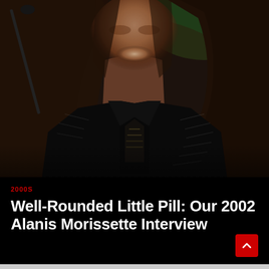[Figure (photo): A woman with long dark brown hair performing or speaking at a microphone, smiling, wearing a black sequined jacket with embroidery details, photographed against a dark background with green stage lighting visible.]
2000S
Well-Rounded Little Pill: Our 2002 Alanis Morissette Interview